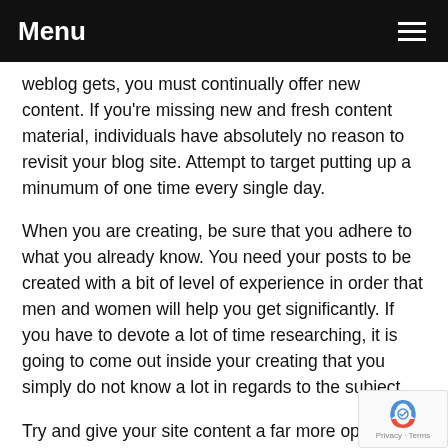Menu
weblog gets, you must continually offer new content. If you're missing new and fresh content material, individuals have absolutely no reason to revisit your blog site. Attempt to target putting up a minumum of one time every single day.
When you are creating, be sure that you adhere to what you already know. You need your posts to be created with a bit of level of experience in order that men and women will help you get significantly. If you have to devote a lot of time researching, it is going to come out inside your creating that you simply do not know a lot in regards to the subject.
Try and give your site content a far more optimistic note than property on bad elements inside your content. This likely ensure that you get probably the most readership. Men